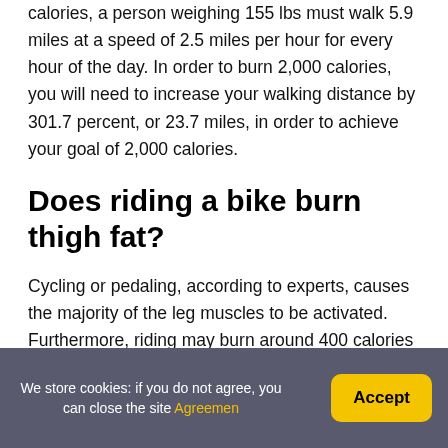calories, a person weighing 155 lbs must walk 5.9 miles at a speed of 2.5 miles per hour for every hour of the day. In order to burn 2,000 calories, you will need to increase your walking distance by 301.7 percent, or 23.7 miles, in order to achieve your goal of 2,000 calories.
Does riding a bike burn thigh fat?
Cycling or pedaling, according to experts, causes the majority of the leg muscles to be activated. Furthermore, riding may burn around 400 calories each hour, allowing you to lose weight while also reducing thigh fat.
We store cookies: if you do not agree, you can close the site Agreemen